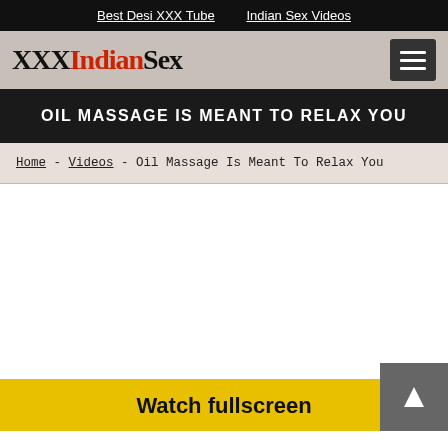Best Desi XXX Tube   Indian Sex Videos
XXXIndianSex
OIL MASSAGE IS MEANT TO RELAX YOU
Home - Videos - Oil Massage Is Meant To Relax You
Watch fullscreen